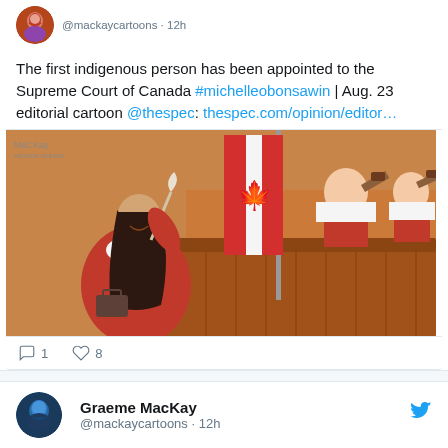@mackaycartoons · 12h
The first indigenous person has been appointed to the Supreme Court of Canada #michelleobonsawin | Aug. 23 editorial cartoon @thespec: thespec.com/opinion/editor…
[Figure (illustration): Editorial cartoon by MacKay showing the first indigenous person appointed to the Supreme Court of Canada. A smiling woman in red judicial robes holds a feather quill, standing before Canadian flags and judges seated at a bench holding gavels.]
1  8 (comment and like counts)
Graeme MacKay @mackaycartoons · 12h
The first indigenous person has been appointed to the Supreme Court of